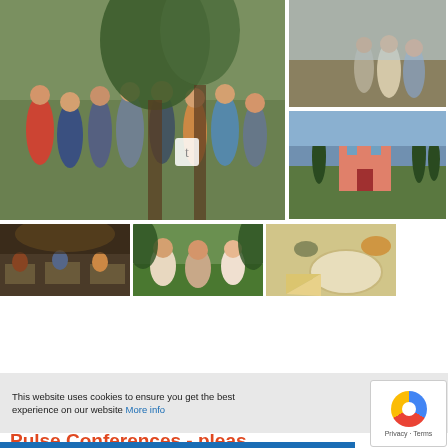[Figure (photo): Group of people gathered outdoors among trees and greenery]
[Figure (photo): People walking outdoors, partial view]
[Figure (photo): Outdoor landscape with pink building and cypress trees]
[Figure (photo): People dining in a rustic indoor restaurant]
[Figure (photo): People sitting in a garden or park setting]
[Figure (photo): Close-up of cheese and food items]
[Figure (infographic): Social share buttons: Facebook, Twitter, LinkedIn, Email, More]
This website uses cookies to ensure you get the best experience on our website More info
Got it!
Pulse Conferences - pleas
< BACK TO PULSE CONFERENCES